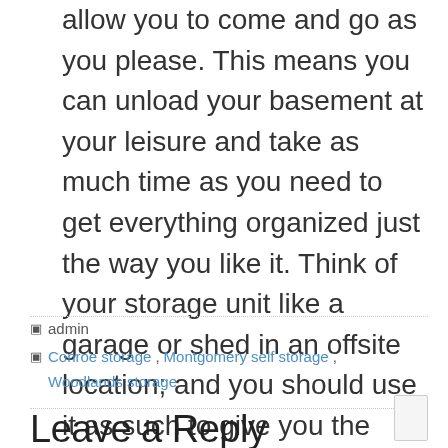allow you to come and go as you please. This means you can unload your basement at your leisure and take as much time as you need to get everything organized just the way you like it. Think of your storage unit like a garage or shed in an offsite location; and you should use it as such to give you the most space possible for your new basement room.
admin
Conroe storage , Montgomery self storage , Woodlands storage
Leave a Reply